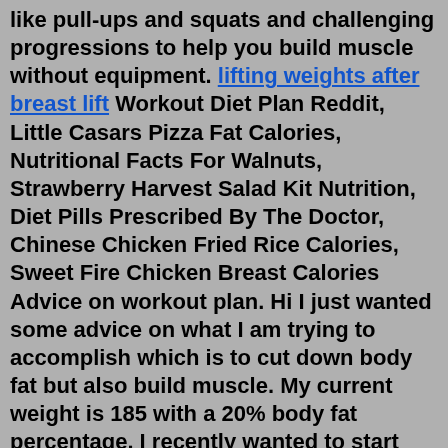like pull-ups and squats and challenging progressions to help you build muscle without equipment. lifting weights after breast lift Workout Diet Plan Reddit, Little Casars Pizza Fat Calories, Nutritional Facts For Walnuts, Strawberry Harvest Salad Kit Nutrition, Diet Pills Prescribed By The Doctor, Chinese Chicken Fried Rice Calories, Sweet Fire Chicken Breast Calories Advice on workout plan. Hi I just wanted some advice on what I am trying to accomplish which is to cut down body fat but also build muscle. My current weight is 185 with a 20% body fat percentage. I recently wanted to start working out, my plan was to have 3 days of full body strength training and on off days to do running or cycling. Jul 06, 2022 · Greyskull LP. Another great choice is the Greyskull LP program, which is another 3 day full body strength workout. It increases each session instead of every week, but the overall progression rate is the same as Ivysaur 4-4-8 (15 lb per week or 7.5 kg per week). 3 training days per week. Advice on workout plan. Hi I just wanted...